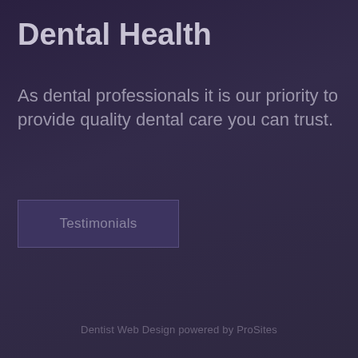Dental Health
As dental professionals it is our priority to provide quality dental care you can trust.
Testimonials
Dentist Web Design powered by ProSites